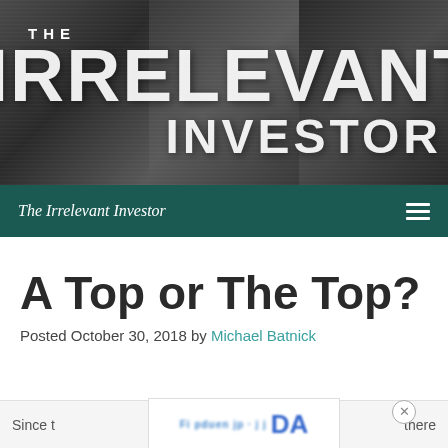[Figure (illustration): The Irrelevant Investor website banner with collage of crowd/stock exchange photos and bold white text reading THE IRRELEVANT INVESTOR]
The Irrelevant Investor
A Top or The Top?
Posted October 30, 2018 by Michael Batnick
Since t[blurred ad overlay]there